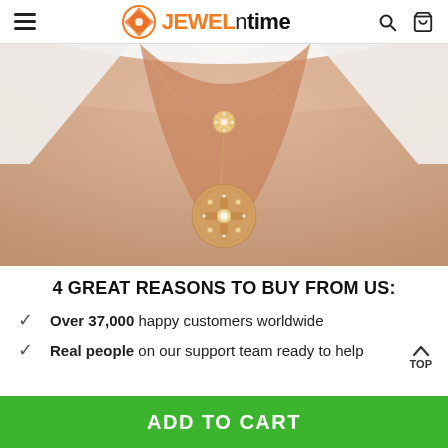JEWELntime
[Figure (photo): Close-up photo of a person's neck and upper chest wearing two layered gold necklaces with star-shaped and circular celestial pendants adorned with small diamonds.]
4 GREAT REASONS TO BUY FROM US:
Over 37,000 happy customers worldwide
Real people on our support team ready to help